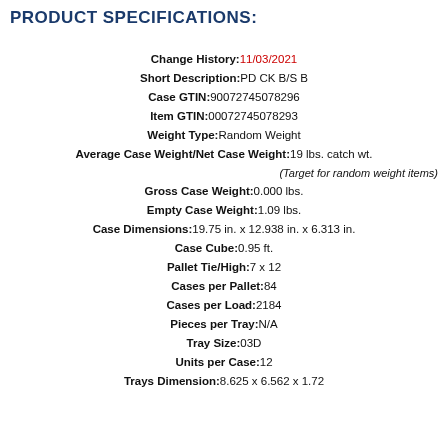PRODUCT SPECIFICATIONS:
| Field | Value |
| --- | --- |
| Change History | 11/03/2021 |
| Short Description | PD CK B/S B |
| Case GTIN | 90072745078296 |
| Item GTIN | 00072745078293 |
| Weight Type | Random Weight |
| Average Case Weight/Net Case Weight | 19 lbs. catch wt. (Target for random weight items) |
| Gross Case Weight | 0.000 lbs. |
| Empty Case Weight | 1.09 lbs. |
| Case Dimensions | 19.75 in. x 12.938 in. x 6.313 in. |
| Case Cube | 0.95 ft. |
| Pallet Tie/High | 7 x 12 |
| Cases per Pallet | 84 |
| Cases per Load | 2184 |
| Pieces per Tray | N/A |
| Tray Size | 03D |
| Units per Case | 12 |
| Trays Dimension | 8.625 x 6.562 x 1.72 |